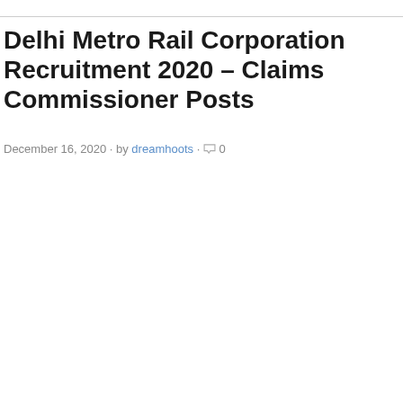Delhi Metro Rail Corporation Recruitment 2020 – Claims Commissioner Posts
December 16, 2020 · by dreamhoots · 0